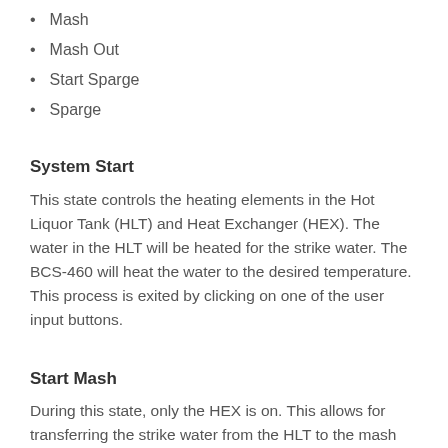Mash
Mash Out
Start Sparge
Sparge
System Start
This state controls the heating elements in the Hot Liquor Tank (HLT) and Heat Exchanger (HEX). The water in the HLT will be heated for the strike water. The BCS-460 will heat the water to the desired temperature. This process is exited by clicking on one of the user input buttons.
Start Mash
During this state, only the HEX is on. This allows for transferring the strike water from the HLT to the mash tun, hose swaps, etc. This process is also exited by clicking on an input button. After the strike water is transferred to the